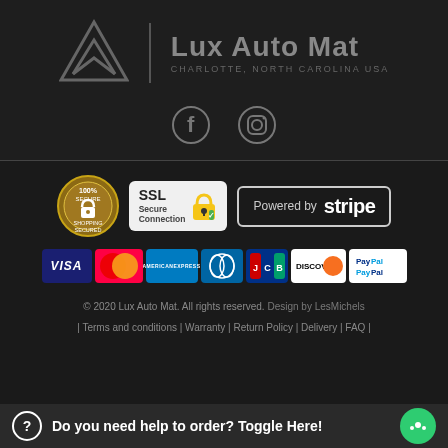[Figure (logo): Lux Auto Mat logo with geometric diamond/arrow shape in gray on dark background, with vertical divider and text 'Lux Auto Mat' and 'CHARLOTTE, NORTH CAROLINA USA']
[Figure (illustration): Social media icons: Facebook and Instagram icons in gray on dark background]
[Figure (illustration): Security badges: 100% Secure gold badge, SSL Secure Connection badge, and Powered by Stripe button. Payment method icons: VISA, Mastercard, American Express, Diners Club, JCB, Discover, PayPal]
© 2020 Lux Auto Mat. All rights reserved. Design by LesMichels
| Terms and conditions | Warranty | Return Policy | Delivery | FAQ |
Do you need help to order? Toggle Here!